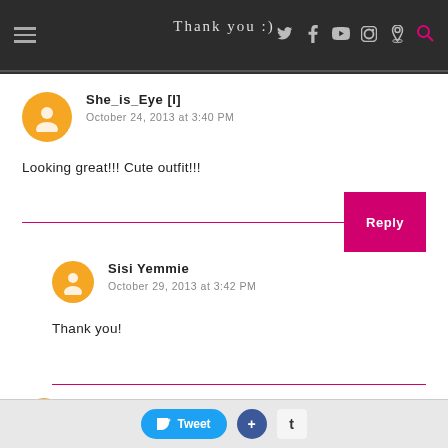Thank you :)
She_is_Eye [I]
October 24, 2013 at 3:40 PM
Looking great!!! Cute outfit!!!
Sisi Yemmie
October 29, 2013 at 3:42 PM
Thank you!
Myne
October 24, 2013 at ...